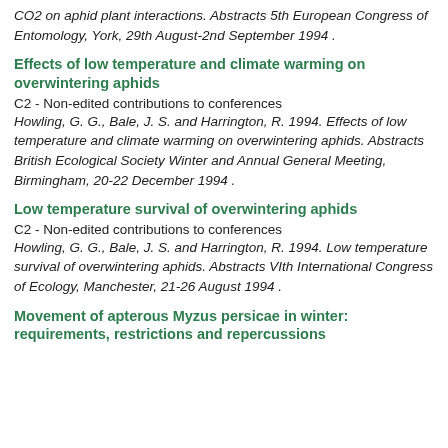CO2 on aphid plant interactions. Abstracts 5th European Congress of Entomology, York, 29th August-2nd September 1994 .
Effects of low temperature and climate warming on overwintering aphids
C2 - Non-edited contributions to conferences
Howling, G. G., Bale, J. S. and Harrington, R. 1994. Effects of low temperature and climate warming on overwintering aphids. Abstracts British Ecological Society Winter and Annual General Meeting, Birmingham, 20-22 December 1994 .
Low temperature survival of overwintering aphids
C2 - Non-edited contributions to conferences
Howling, G. G., Bale, J. S. and Harrington, R. 1994. Low temperature survival of overwintering aphids. Abstracts VIth International Congress of Ecology, Manchester, 21-26 August 1994 .
Movement of apterous Myzus persicae in winter: requirements, restrictions and repercussions